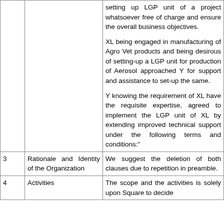| # | Category | Description |
| --- | --- | --- |
|  |  | setting up LGP unit of a project whatsoever free of charge and ensure the overall business objectives.

XL being engaged in manufacturing of Agro Vet products and being desirous of setting-up a LGP unit for production of Aerosol approached Y for support and assistance to set-up the same.

Y knowing the requirement of XL have the requisite expertise, agreed to implement the LGP unit of XL by extending improved technical support under the following terms and conditions:" |
| 3 | Rationale and Identity of the Organization | We suggest the deletion of both clauses due to repetition in preamble. |
| 4 | Activities | The scope and the activities is solely upon Square to decide |